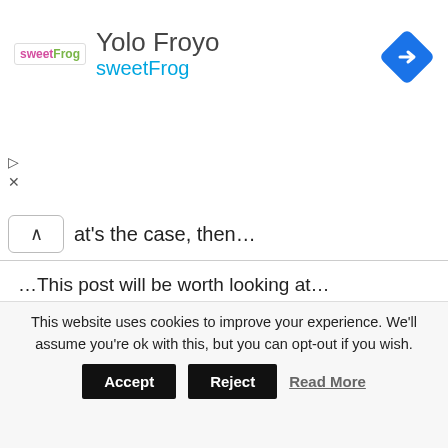[Figure (advertisement): sweetFrog advertisement banner with logo text 'Yolo Froyo' and 'sweetFrog', navigation icon on right, play and close controls on left]
at's the case, then...
…This post will be worth looking at…
Here, you're going to learn three IMPORTANT things...
What Quiet Eyes is…
How QE works in relation to snooker and
This website uses cookies to improve your experience. We'll assume you're ok with this, but you can opt-out if you wish.